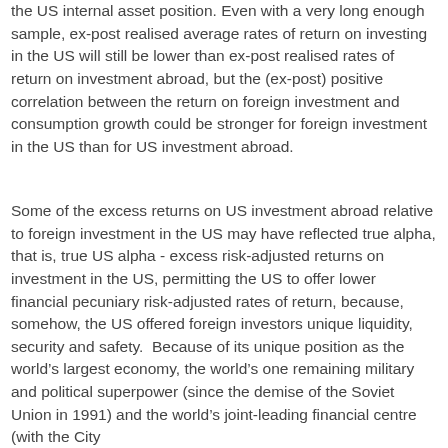the US internal asset position. Even with a very long enough sample, ex-post realised average rates of return on investing in the US will still be lower than ex-post realised rates of return on investment abroad, but the (ex-post) positive correlation between the return on foreign investment and consumption growth could be stronger for foreign investment in the US than for US investment abroad.
Some of the excess returns on US investment abroad relative to foreign investment in the US may have reflected true alpha, that is, true US alpha - excess risk-adjusted returns on investment in the US, permitting the US to offer lower financial pecuniary risk-adjusted rates of return, because, somehow, the US offered foreign investors unique liquidity, security and safety.  Because of its unique position as the world's largest economy, the world's one remaining military and political superpower (since the demise of the Soviet Union in 1991) and the world's joint-leading financial centre (with the City